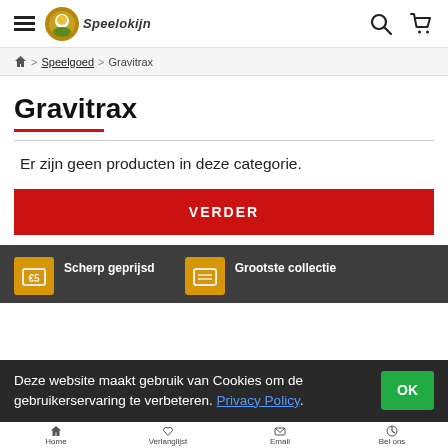Speelokijn header with hamburger menu, logo, search and cart icons
Home > Speelgoed > Gravitrax
Gravitrax
Er zijn geen producten in deze categorie.
VERDER
Scherp geprijsd
Grootste collectie
Deze website maakt gebruik van Cookies om de gebruikerservaring te verbeteren. Privacy Policy.
Home  Verlanglijst  Email  Bel ons